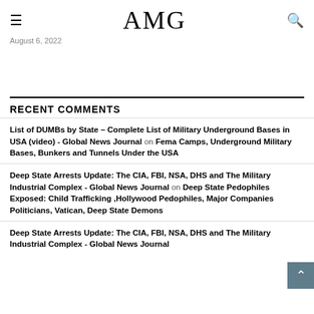AMG
August 6, 2022
RECENT COMMENTS
List of DUMBs by State – Complete List of Military Underground Bases in USA (video) - Global News Journal on Fema Camps, Underground Military Bases, Bunkers and Tunnels Under the USA
Deep State Arrests Update: The CIA, FBI, NSA, DHS and The Military Industrial Complex - Global News Journal on Deep State Pedophiles Exposed: Child Trafficking ,Hollywood Pedophiles, Major Companies Politicians, Vatican, Deep State Demons
Deep State Arrests Update: The CIA, FBI, NSA, DHS and The Military Industrial Complex - Global News Journal on United States ...